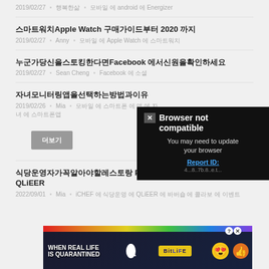2019/02/27 • 행복한삶 • 모바일 android 에 Energizer
스마트워치Apple Watch 구매가이드부터 2020 까지
2019/02/27 • Anny • 모바일 에 Apple Watch 에 스마트워치
누군가당신을스토킹한다면Facebook 에서신원을확인하세요
2019/02/27 • Sean Cheng • Facebook 에 소셜
자녀모니터링앱을선택하는방법과이유
2019/02/26 • Mia • 모바일 에 스마트폰 에 앱 에 자녀 에 스마트폰앱
더보기 (button)
[Figure (screenshot): Browser not compatible popup overlay with black background. Shows X close button, title 'Browser not compatible', body text 'You may need to update your browser', and 'Report ID:' link in blue.]
식당운영자가꼭알아야할레스토랑 POS시Churchill Barbershop x QLiEER
2022/09/01 • Mia • iCHEF 에 식당운영 에 QLiEER 에 바버숍 에 콜라보 에 이벤트
[Figure (screenshot): Advertisement banner for BitLife game. Rainbow colored top bar, 'WHEN REAL LIFE IS QUARANTINED' text, sperm icon, BitLife logo in yellow, star emoji character with mask, thumbs up emoji. Help and close buttons top right.]